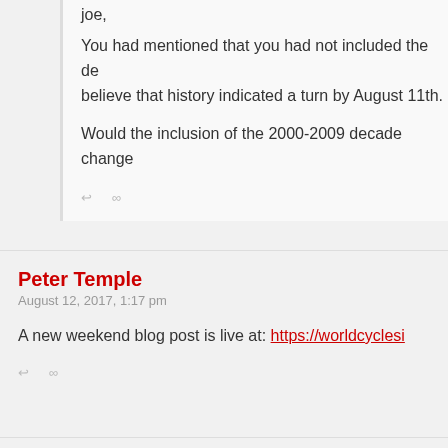joe,
You had mentioned that you had not included the de... believe that history indicated a turn by August 11th.
Would the inclusion of the 2000-2009 decade change...
↩  ∞
Peter Temple
August 12, 2017, 1:17 pm
A new weekend blog post is live at: https://worldcyclesi...
↩  ∞